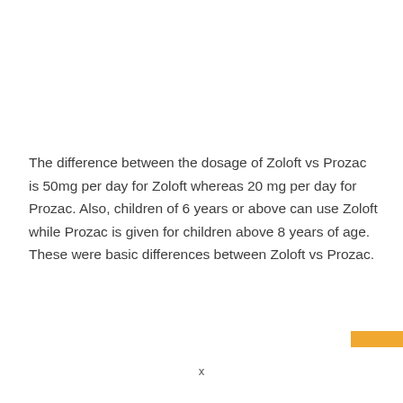The difference between the dosage of Zoloft vs Prozac is 50mg per day for Zoloft whereas 20 mg per day for Prozac. Also, children of 6 years or above can use Zoloft while Prozac is given for children above 8 years of age. These were basic differences between Zoloft vs Prozac.
x